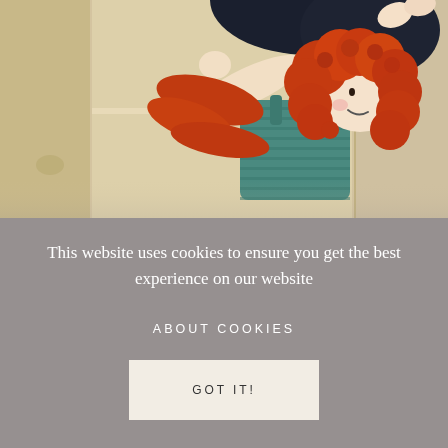[Figure (photo): Overhead view of a handmade fabric doll with curly red/orange hair and a teal/dark green striped dress, lying on a light wood surface (shelf or crib). A dark navy knit item and bare doll legs are visible at the top. The photo has a warm, natural light aesthetic typical of a children's toy or gift shop.]
This website uses cookies to ensure you get the best experience on our website
ABOUT COOKIES
GOT IT!